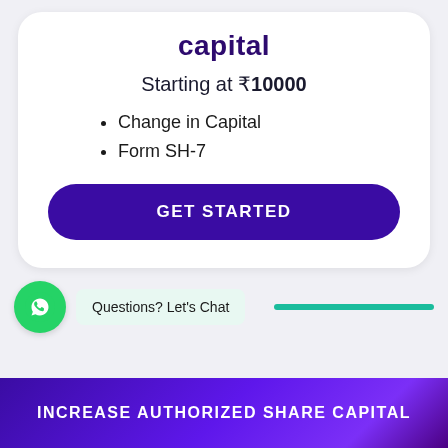capital
Starting at ₹10000
Change in Capital
Form SH-7
GET STARTED
Questions? Let's Chat
INCREASE AUTHORIZED SHARE CAPITAL